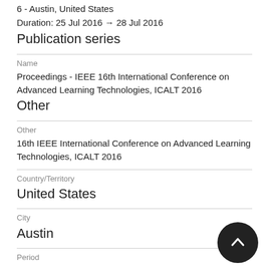6 - Austin, United States
Duration: 25 Jul 2016 → 28 Jul 2016
Publication series
Name
Proceedings - IEEE 16th International Conference on Advanced Learning Technologies, ICALT 2016
Other
Other
16th IEEE International Conference on Advanced Learning Technologies, ICALT 2016
Country/Territory
United States
City
Austin
Period